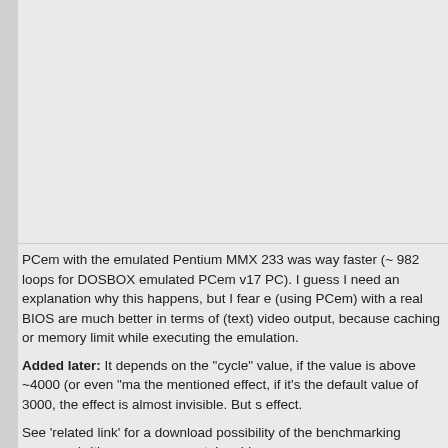[Figure (other): Screenshot or image placeholder area (large empty/grey area at top of page)]
PCem with the emulated Pentium MMX 233 was way faster (~ 982 loops for DOSBOX emulated PCem v17 PC). I guess I need an explanation why this happens, but I fear e (using PCem) with a real BIOS are much better in terms of (text) video output, because caching or memory limit while executing the emulation.
Added later: It depends on the "cycle" value, if the value is above ~4000 (or even "ma the mentioned effect, if it's the default value of 3000, the effect is almost invisible. But s effect.
See 'related link' for a download possibility of the benchmarking program (with source my >youtube video<.
I would really, really appreciate some result values from REAL machines. Many thanks advance. You can use the comment function (at least for about 60 days after posting th contact function here.